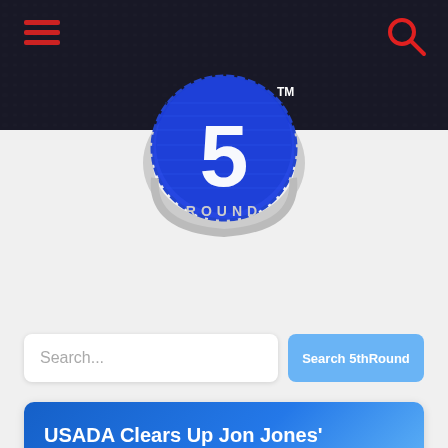5thRound website header with logo, hamburger menu, and search icon
[Figure (logo): 5thRound logo: circular blue metallic badge with large white '5' and 'ROUND' text below, with chain/horseshoe decorative element, TM mark]
Search...
Search 5thRound
USADA Clears Up Jon Jones' Negative Blood Test
Written by Tom Ngo
September 1st, 2017
0
[Figure (photo): Partial photo of a person, dark background, only top of image visible]